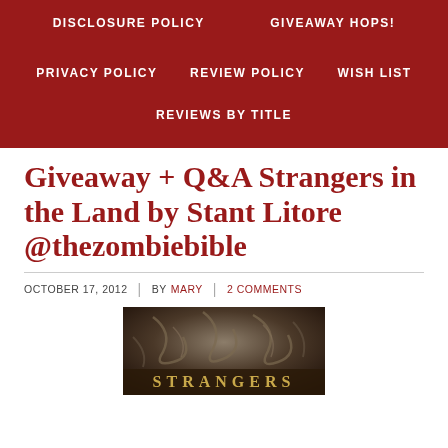DISCLOSURE POLICY | GIVEAWAY HOPS! | PRIVACY POLICY | REVIEW POLICY | WISH LIST | REVIEWS BY TITLE
Giveaway + Q&A Strangers in the Land by Stant Litore @thezombiebible
OCTOBER 17, 2012 | BY MARY | 2 COMMENTS
[Figure (photo): Cover of book 'Strangers in the Land' with ornate dark metallic design and text 'STRANGERS' visible at bottom]